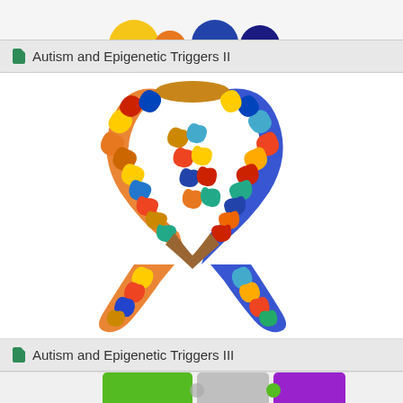[Figure (illustration): Top portion of a cropped puzzle-piece autism awareness ribbon image]
Autism and Epigenetic Triggers II
[Figure (illustration): Colorful autism awareness ribbon made of multicolored puzzle pieces including blue, red, yellow, orange, teal, and brown pieces forming a ribbon/bow shape]
Autism and Epigenetic Triggers III
[Figure (illustration): Bottom portion of another autism-related image with green, purple, and grey colored puzzle pieces]